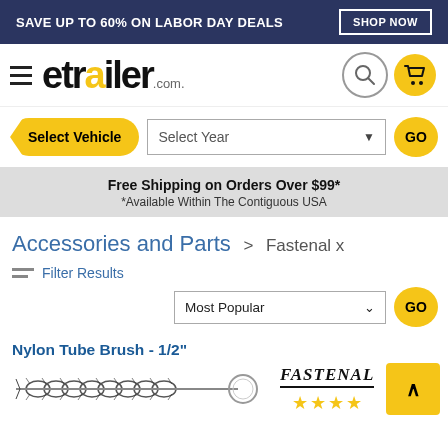SAVE UP TO 60% ON LABOR DAY DEALS  SHOP NOW
[Figure (logo): etrailer.com logo with hamburger menu, search icon, and cart icon]
Select Vehicle  Select Year  GO
Free Shipping on Orders Over $99*
*Available Within The Contiguous USA
Accessories and Parts > Fastenal x
Filter Results
Most Popular  GO
Nylon Tube Brush - 1/2"
[Figure (photo): Nylon tube brush product image showing bristled brush with handle loop]
[Figure (logo): Fastenal brand logo with 4 yellow stars below]